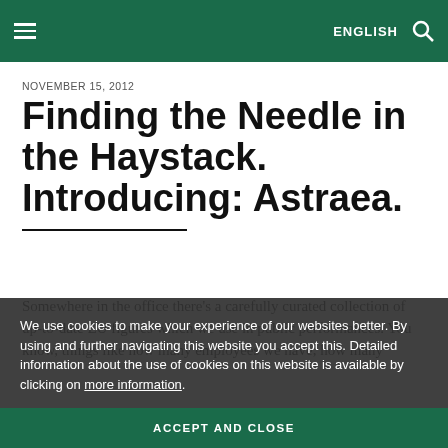≡  ENGLISH 🔍
NOVEMBER 15, 2012
Finding the Needle in the Haystack. Introducing: Astraea.
Somewhere in the office there's a carefully curated collection of up-to-date EU figures which we use in public performances. You know, things like how many employees we have, how many
We use cookies to make your experience of our websites better. By using and further navigating this website you accept this. Detailed information about the use of cookies on this website is available by clicking on more information.
ACCEPT AND CLOSE